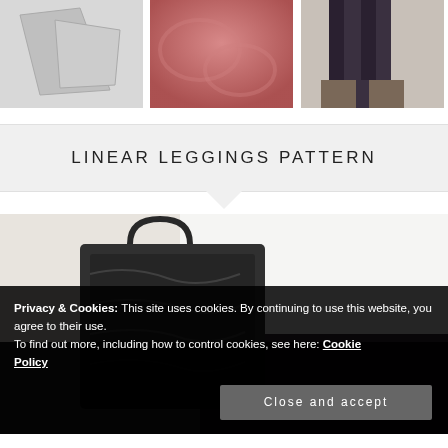[Figure (photo): Three photos side by side: fabric pattern pieces on left, pink/salmon fabric in middle, person wearing dark leggings on right]
LINEAR LEGGINGS PATTERN
[Figure (photo): Person wearing dark purple/black leggings and white top, holding a large black textured tote bag, with a cookie consent overlay banner at the bottom]
Privacy & Cookies: This site uses cookies. By continuing to use this website, you agree to their use.
To find out more, including how to control cookies, see here: Cookie Policy
Close and accept